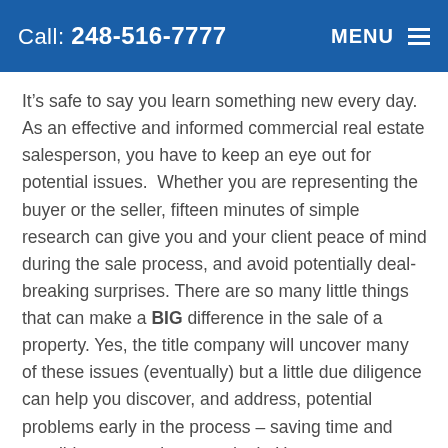Call: 248-516-7777  MENU
It’s safe to say you learn something new every day. As an effective and informed commercial real estate salesperson, you have to keep an eye out for potential issues.  Whether you are representing the buyer or the seller, fifteen minutes of simple research can give you and your client peace of mind during the sale process, and avoid potentially deal-breaking surprises. There are so many little things that can make a BIG difference in the sale of a property. Yes, the title company will uncover many of these issues (eventually) but a little due diligence can help you discover, and address, potential problems early in the process – saving time and possibly even saving your deal.  Here